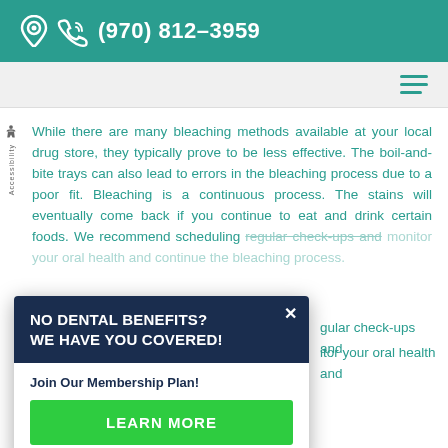(970) 812-3959
While there are many bleaching methods available at your local drug store, they typically prove to be less effective. The boil-and-bite trays can also lead to errors in the bleaching process due to a poor fit. Bleaching is a continuous process. The stains will eventually come back if you continue to eat and drink certain foods. We recommend scheduling regular check-ups and monitor your oral health and continue the bleaching process.
[Figure (infographic): Popup modal with dark navy header reading 'NO DENTAL BENEFITS? WE HAVE YOU COVERED!' with a close X button, subtitle 'Join Our Membership Plan!' and a green 'LEARN MORE' button]
appointment
If you would like to brighten your smile, call (970)